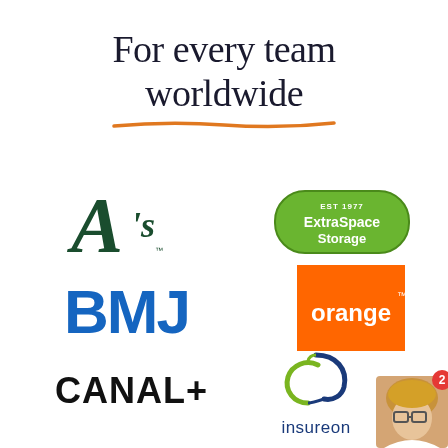For every team worldwide
[Figure (logo): Oakland Athletics A's baseball logo in dark green and gold]
[Figure (logo): ExtraSpace Storage logo - green pill/oval shape with white text 'ExtraSpace Storage' and 'EST 1977']
[Figure (logo): BMJ logo in bold blue letters]
[Figure (logo): Orange telecom logo - orange square with white text 'orange' and superscript tm]
[Figure (logo): CANAL+ logo in bold black text with plus sign]
[Figure (logo): Insureon logo with blue and green swirl/leaf icon above text 'insureon' in dark blue]
[Figure (photo): Avatar photo of a woman with glasses and blonde hair with red notification badge showing '2']